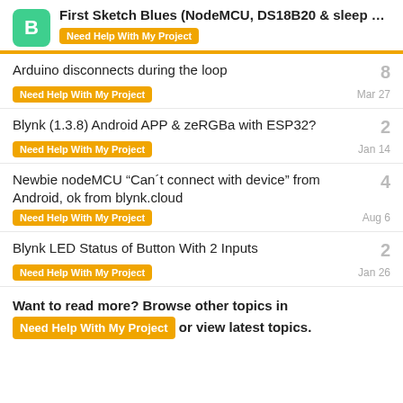First Sketch Blues (NodeMCU, DS18B20 & sleep ... | Need Help With My Project
Arduino disconnects during the loop | Need Help With My Project | 8 | Mar 27
Blynk (1.3.8) Android APP & zeRGBa with ESP32? | Need Help With My Project | 2 | Jan 14
Newbie nodeMCU "Can´t connect with device" from Android, ok from blynk.cloud | Need Help With My Project | 4 | Aug 6
Blynk LED Status of Button With 2 Inputs | Need Help With My Project | 2 | Jan 26
Want to read more? Browse other topics in Need Help With My Project or view latest topics.